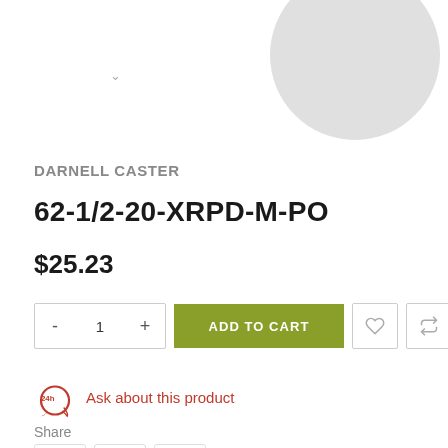[Figure (photo): Product image area with a gray circle representing a caster product, partially visible at top right]
DARNELL CASTER
62-1/2-20-XRPD-M-PO
$25.23
ADD TO CART
Ask about this product
Share